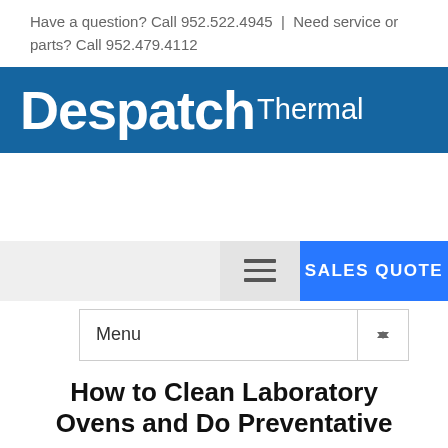Have a question? Call 952.522.4945  |  Need service or parts? Call 952.479.4112
[Figure (logo): Despatch Thermal logo — white bold text on dark blue banner]
[Figure (screenshot): Navigation bar with hamburger menu button and blue SALES QUOTE button, and a Menu dropdown below]
How to Clean Laboratory Ovens and Do Preventative